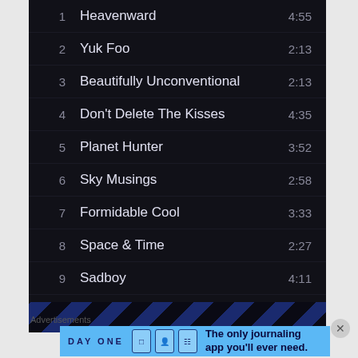1  Heavenward  4:55
2  Yuk Foo  2:13
3  Beautifully Unconventional  2:13
4  Don't Delete The Kisses  4:35
5  Planet Hunter  3:52
6  Sky Musings  2:58
7  Formidable Cool  3:33
8  Space & Time  2:27
9  Sadboy  4:11
10  St. Purple & Green  4:21
[Figure (screenshot): Diagonal black and blue striped banner]
Advertisements
[Figure (screenshot): Day One journaling app advertisement: The only journaling app you'll ever need.]